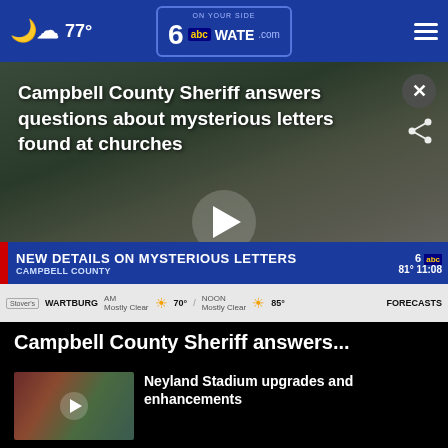77° | 6 abc WATE.com
[Figure (screenshot): News video thumbnail showing Campbell County Sheriff at a church meeting. Chyron reads: NEW DETAILS ON MYSTERIOUS LETTERS / CAMPBELL COUNTY. Weather strip shows: WARTBURG 70° Mostly Clear / 85° Mostly Clear FORECASTS.]
Campbell County Sheriff answers questions about mysterious letters found at churches
Campbell County Sheriff answers...
[Figure (screenshot): Thumbnail of Neyland Stadium video]
Neyland Stadium upgrades and enhancements